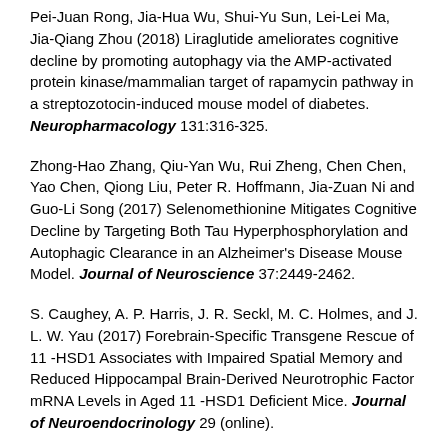Pei-Juan Rong, Jia-Hua Wu, Shui-Yu Sun, Lei-Lei Ma, Jia-Qiang Zhou (2018) Liraglutide ameliorates cognitive decline by promoting autophagy via the AMP-activated protein kinase/mammalian target of rapamycin pathway in a streptozotocin-induced mouse model of diabetes. Neuropharmacology 131:316-325.
Zhong-Hao Zhang, Qiu-Yan Wu, Rui Zheng, Chen Chen, Yao Chen, Qiong Liu, Peter R. Hoffmann, Jia-Zuan Ni and Guo-Li Song (2017) Selenomethionine Mitigates Cognitive Decline by Targeting Both Tau Hyperphosphorylation and Autophagic Clearance in an Alzheimer's Disease Mouse Model. Journal of Neuroscience 37:2449-2462.
S. Caughey, A. P. Harris, J. R. Seckl, M. C. Holmes, and J. L. W. Yau (2017) Forebrain-Specific Transgene Rescue of 11 -HSD1 Associates with Impaired Spatial Memory and Reduced Hippocampal Brain-Derived Neurotrophic Factor mRNA Levels in Aged 11 -HSD1 Deficient Mice. Journal of Neuroendocrinology 29 (online).
Pooneh Memar Ardestani, Andrew K. Evans, Bitna Yi, Tiffany Nguyen, Laurence Coutellier1, and Mehrdad Shamlo (2017)